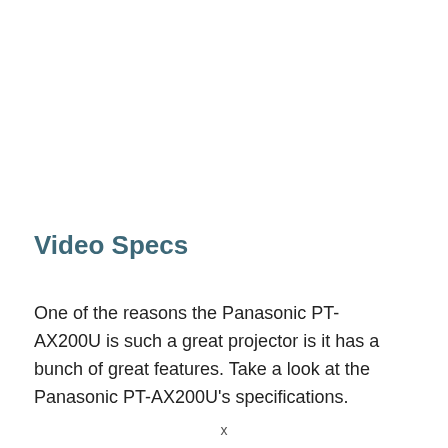Video Specs
One of the reasons the Panasonic PT-AX200U is such a great projector is it has a bunch of great features. Take a look at the Panasonic PT-AX200U's specifications.